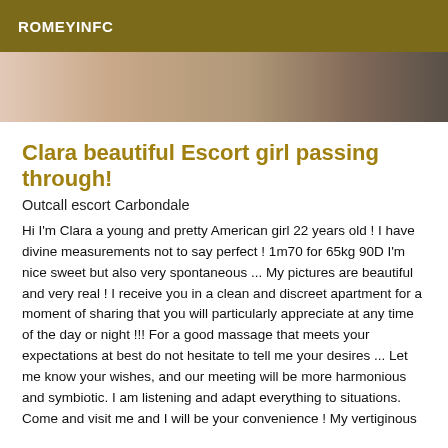ROMEYINFC
[Figure (photo): Partial photo of a person, cropped, showing skin tones and dark background]
Clara beautiful Escort girl passing through!
Outcall escort Carbondale
Hi I'm Clara a young and pretty American girl 22 years old ! I have divine measurements not to say perfect ! 1m70 for 65kg 90D I'm nice sweet but also very spontaneous ... My pictures are beautiful and very real ! I receive you in a clean and discreet apartment for a moment of sharing that you will particularly appreciate at any time of the day or night !!! For a good massage that meets your expectations at best do not hesitate to tell me your desires ... Let me know your wishes, and our meeting will be more harmonious and symbiotic. I am listening and adapt everything to situations. Come and visit me and I will be your convenience ! My vertiginous